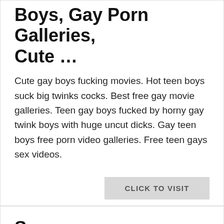Boys, Gay Porn Galleries, Cute ...
Cute gay boys fucking movies. Hot teen boys suck big twinks cocks. Best free gay movie galleries. Teen gay boys fucked by horny gay twink boys with huge uncut dicks. Gay teen boys free porn video galleries. Free teen gays sex videos.
CLICK TO VISIT
Source:
anes Toddler Boys' 10pk Athletic Socks – Colors May